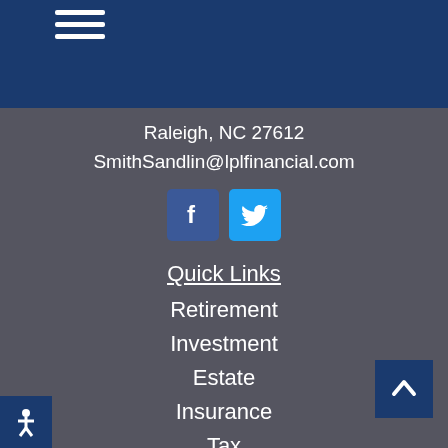Raleigh, NC 27612
SmithSandlin@lplfinancial.com
[Figure (other): Facebook and Twitter social media icon buttons]
Quick Links
Retirement
Investment
Estate
Insurance
Tax
Money
Lifestyle
All Articles
All Videos
All Calculators